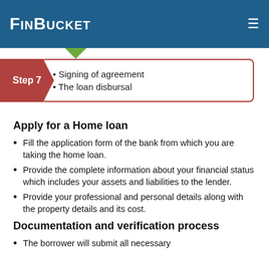FinBucket
[Figure (infographic): Step 7 process diagram with a red pentagon-arrow label reading 'Step 7' and a rounded rectangle box listing two bullet points: 'Signing of agreement' and 'The loan disbursal'. A green downward arrow is above the step box.]
Apply for a Home loan
Fill the application form of the bank from which you are taking the home loan.
Provide the complete information about your financial status which includes your assets and liabilities to the lender.
Provide your professional and personal details along with the property details and its cost.
Documentation and verification process
The borrower will submit all necessary